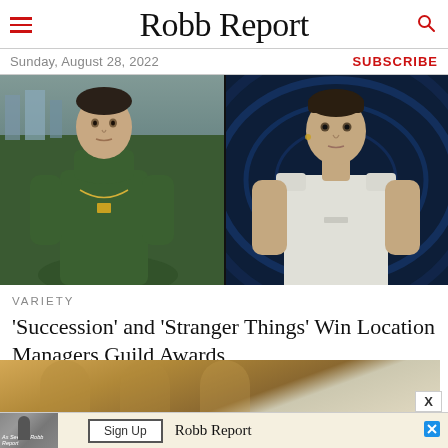Robb Report
Sunday, August 28, 2022
SUBSCRIBE
[Figure (photo): Side-by-side photos: left shows a man in a dark green turtleneck with a chain necklace against a city skyline background; right shows a woman in a white sleeveless top against a blue futuristic background.]
VARIETY
'Succession' and 'Stranger Things' Win Location Managers Guild Awards
[Figure (photo): Partial image of a decorative interior visible at the bottom of the page, partially cut off.]
[Figure (screenshot): Advertisement bar at the bottom showing a 'Sign Up' button and 'Robb Report' branding with a close X button.]